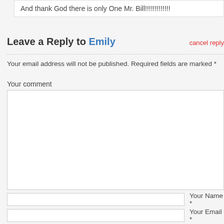And thank God there is only One Mr. Bill!!!!!!!!!!!!!
Leave a Reply to Emily
cancel reply
Your email address will not be published. Required fields are marked *
Your comment
back to top
Your Name *
Your Email *
Website